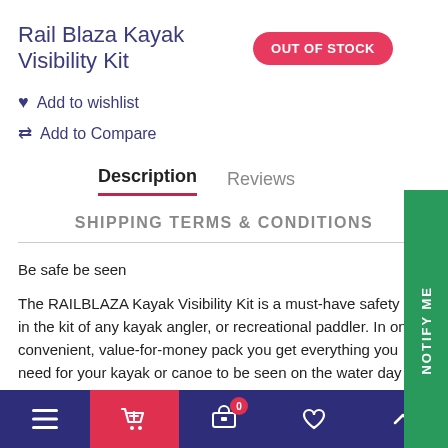Rail Blaza Kayak Visibility Kit
OUT OF STOCK
Add to wishlist
Add to Compare
Description
Reviews
SHIPPING TERMS & CONDITIONS
Be safe be seen
The RAILBLAZA Kayak Visibility Kit is a must-have safety ite in the kit of any kayak angler, or recreational paddler. In on convenient, value-for-money pack you get everything you need for your kayak or canoe to be seen on the water day and night
NOTIFY ME
Navigation bar with menu, cart, basket (0), wishlist, and scroll-up icons